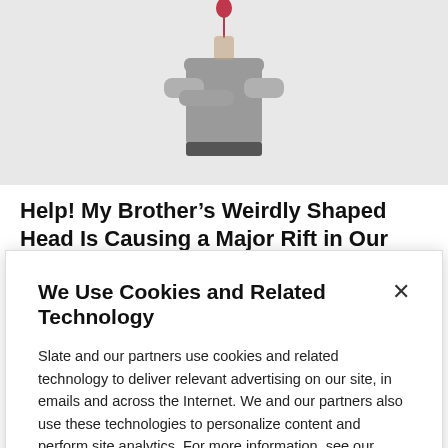[Figure (photo): Black and white photo of a man with arms crossed, head replaced/obscured by a balloon on a string (balloon floats above), wearing a grey t-shirt]
Help! My Brother’s Weirdly Shaped Head Is Causing a Major Rift in Our Family.
My Son’s a Child Actor. Someone Is Stealing His…
We Use Cookies and Related Technology
Slate and our partners use cookies and related technology to deliver relevant advertising on our site, in emails and across the Internet. We and our partners also use these technologies to personalize content and perform site analytics. For more information, see our terms and privacy policy.  Privacy Policy
OK